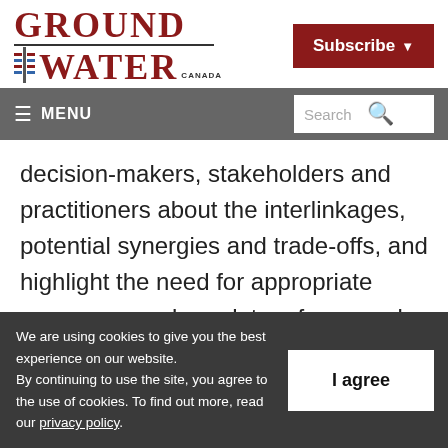[Figure (logo): Ground Water Canada magazine logo with red serif text and horizontal rule, and a Subscribe button in dark red]
≡ MENU   Search
decision-makers, stakeholders and practitioners about the interlinkages, potential synergies and trade-offs, and highlight the need for appropriate responses and regulatory frameworks that
We are using cookies to give you the best experience on our website. By continuing to use the site, you agree to the use of cookies. To find out more, read our privacy policy.